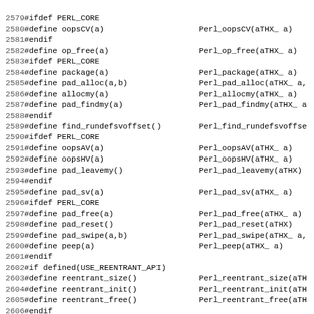2579 #ifdef PERL_CORE
2580 #define oopsCV(a)                    Perl_oopsCV(aTHX_ a)
2581 #endif
2582 #define op_free(a)                   Perl_op_free(aTHX_ a)
2583 #ifdef PERL_CORE
2584 #define package(a)                   Perl_package(aTHX_ a)
2585 #define pad_alloc(a,b)               Perl_pad_alloc(aTHX_ a,
2586 #define allocmy(a)                   Perl_allocmy(aTHX_ a)
2587 #define pad_findmy(a)                Perl_pad_findmy(aTHX_ a
2588 #endif
2589 #define find_rundefsvoffset()        Perl_find_rundefsvoffse
2590 #ifdef PERL_CORE
2591 #define oopsAV(a)                    Perl_oopsAV(aTHX_ a)
2592 #define oopsHV(a)                    Perl_oopsHV(aTHX_ a)
2593 #define pad_leavemy()                Perl_pad_leavemy(aTHX)
2594 #endif
2595 #define pad_sv(a)                    Perl_pad_sv(aTHX_ a)
2596 #ifdef PERL_CORE
2597 #define pad_free(a)                  Perl_pad_free(aTHX_ a)
2598 #define pad_reset()                  Perl_pad_reset(aTHX)
2599 #define pad_swipe(a,b)               Perl_pad_swipe(aTHX_ a,
2600 #define peep(a)                      Perl_peep(aTHX_ a)
2601 #endif
2602 #if defined(USE_REENTRANT_API)
2603 #define reentrant_size()             Perl_reentrant_size(aTH
2604 #define reentrant_init()             Perl_reentrant_init(aTH
2605 #define reentrant_free()             Perl_reentrant_free(aTH
2606 #endif
2607 #define call_atexit(a,b)             Perl_call_atexit(aTHX_
2608 #define call_argv(a,b,c)             Perl_call_argv(aTHX_ a,
2609 #define call_method(a,b)             Perl_call_method(aTHX_
2610 #define call_pv(a,b)                 Perl_call_pv(aTHX_ a,b)